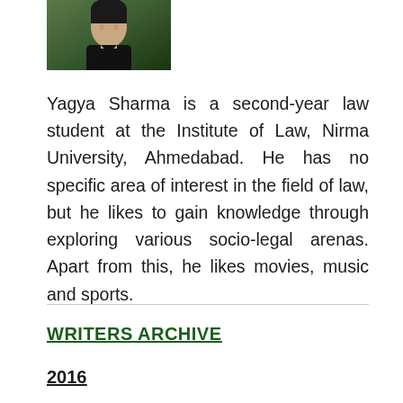[Figure (photo): Portrait photo of Yagya Sharma, a young man wearing a dark top, photographed outdoors]
Yagya Sharma is a second-year law student at the Institute of Law, Nirma University, Ahmedabad. He has no specific area of interest in the field of law, but he likes to gain knowledge through exploring various socio-legal arenas. Apart from this, he likes movies, music and sports.
WRITERS ARCHIVE
2016